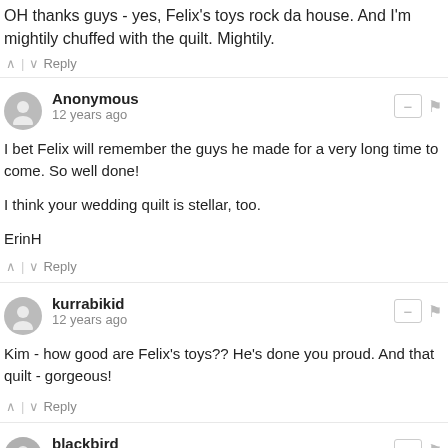OH thanks guys - yes, Felix&#39;s toys rock da house. And I&#39;m mightily chuffed with the quilt. Mightily.
^ | v Reply
Anonymous
12 years ago
I bet Felix will remember the guys he made for a very long time to come. So well done!

I think your wedding quilt is stellar, too.

ErinH
^ | v Reply
kurrabikid
12 years ago
Kim - how good are Felix&#39;s toys?? He&#39;s done you proud. And that quilt - gorgeous!
^ | v Reply
blackbird